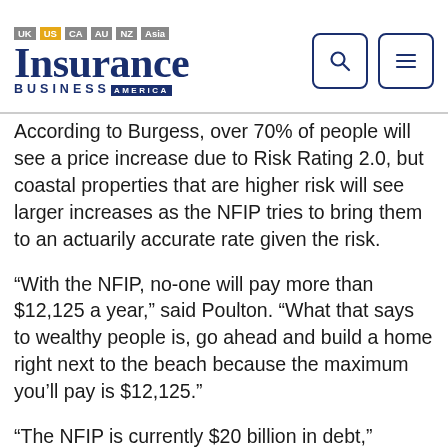Insurance Business America — UK US CA AU NZ Asia
According to Burgess, over 70% of people will see a price increase due to Risk Rating 2.0, but coastal properties that are higher risk will see larger increases as the NFIP tries to bring them to an actuarily accurate rate given the risk.
“With the NFIP, no-one will pay more than $12,125 a year,” said Poulton. “What that says to wealthy people is, go ahead and build a home right next to the beach because the maximum you’ll pay is $12,125.”
“The NFIP is currently $20 billion in debt,” claimed Burgess. “They’ve paid out more than they’ve taken in. If they were a commercial insurance company